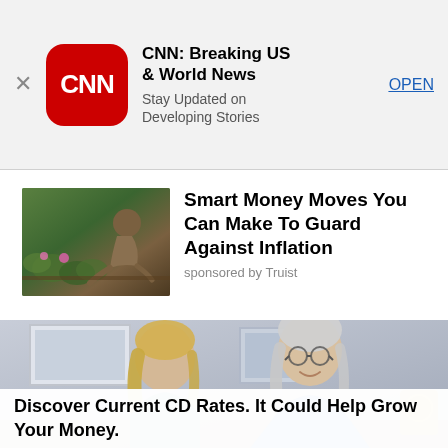[Figure (screenshot): CNN app advertisement banner with red CNN logo, app name 'CNN: Breaking US & World News', subtitle 'Stay Updated on Developing Stories', and an OPEN button]
[Figure (photo): Thumbnail photo of a person bending over flowering plants at a market or garden]
Smart Money Moves You Can Make To Guard Against Inflation
sponsored by Truist
[Figure (photo): Photo of two women sitting together at a table, one younger with blonde hair in a teal sweater and one older with short silver hair and glasses in a blue top, smiling and conversing]
Discover Current CD Rates. It Could Help Grow Your Money.